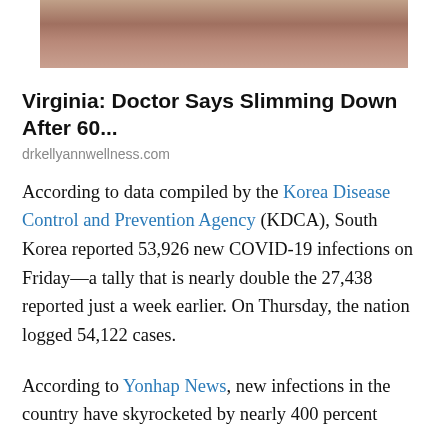[Figure (photo): Partial photo of a person's legs and lower body on a wooden deck, cropped at the top of the page]
Virginia: Doctor Says Slimming Down After 60...
drkellyannwellness.com
According to data compiled by the Korea Disease Control and Prevention Agency (KDCA), South Korea reported 53,926 new COVID-19 infections on Friday—a tally that is nearly double the 27,438 reported just a week earlier. On Thursday, the nation logged 54,122 cases.
According to Yonhap News, new infections in the country have skyrocketed by nearly 400 percent